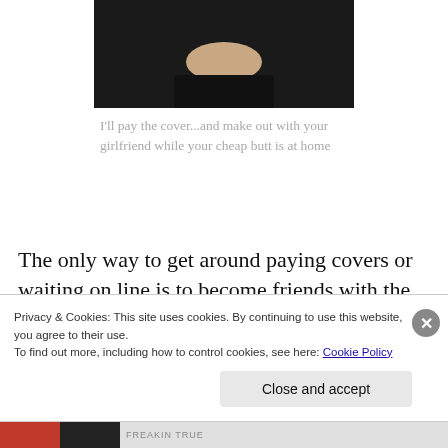[Figure (photo): Partial photo of a person, cropped at top, dark background]
I'll pay the cover...and make out with your girlfriend while your cheap butt is at home
The only way to get around paying covers or waiting on line is to become friends with the bouncer/bartender/owner. The owner of the bar, being the best option, so shoot for that one. I'm not talking like BS, shoot the breeze whenever you walk in kind of way. I'm
Privacy & Cookies: This site uses cookies. By continuing to use this website, you agree to their use.
To find out more, including how to control cookies, see here: Cookie Policy
Close and accept